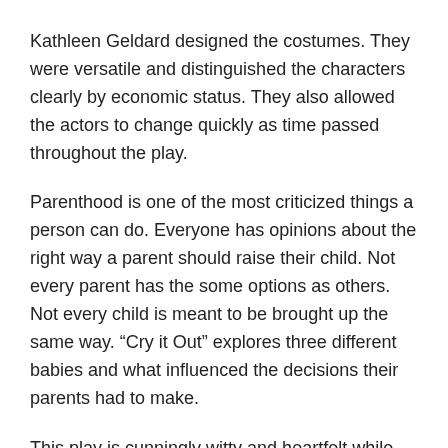Kathleen Geldard designed the costumes. They were versatile and distinguished the characters clearly by economic status. They also allowed the actors to change quickly as time passed throughout the play.
Parenthood is one of the most criticized things a person can do. Everyone has opinions about the right way a parent should raise their child. Not every parent has the some options as others. Not every child is meant to be brought up the same way. “Cry it Out” explores three different babies and what influenced the decisions their parents had to make.
This play is cunningly witty and heartfelt while exploring pretty typical relationships. It feels good to watch and be a part of these characters lives as they navigate the journey that is parenthood.
Running Time: 90 minutes with no intermission.